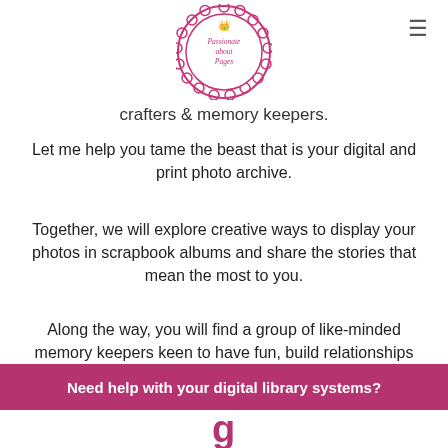[Figure (logo): Circular logo with pink scalloped border reading 'Passionate about Pages']
crafters & memory keepers.
Let me help you tame the beast that is your digital and print photo archive.
Together, we will explore creative ways to display your photos in scrapbook albums and share the stories that mean the most to you.
Along the way, you will find a group of like-minded memory keepers keen to have fun, build relationships
and expand the community that is
Need help with your digital library systems?
g